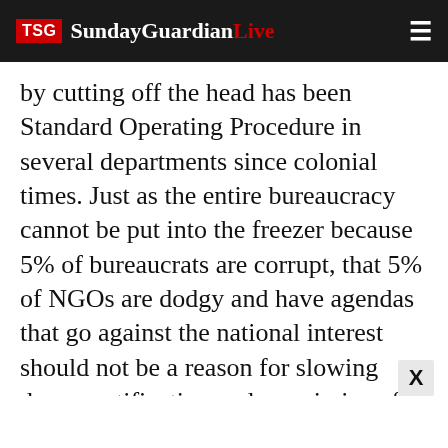TSG SundayGuardianLive
by cutting off the head has been Standard Operating Procedure in several departments since colonial times. Just as the entire bureaucracy cannot be put into the freezer because 5% of bureaucrats are corrupt, that 5% of NGOs are dodgy and have agendas that go against the national interest should not be a reason for slowing down certification and permissions for all of them. It is not the job of government agencies to block, it is their responsibility to act as facilitators. The agencies would also ensure monitoring which separates the bad apples that get discovered in the course of their operations. Individuals and NGOs